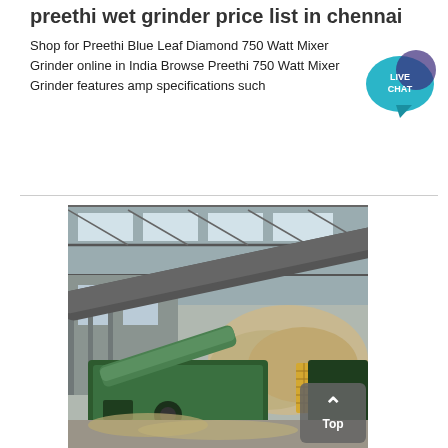preethi wet grinder price list in chennai
Shop for Preethi Blue Leaf Diamond 750 Watt Mixer Grinder online in India Browse Preethi 750 Watt Mixer Grinder features amp specifications such
[Figure (photo): Industrial grinding facility interior showing a large green grinding machine with conveyor belts and a pile of crushed material inside a warehouse with steel roof trusses and skylights]
[Figure (infographic): Live Chat button - teal speech bubble with white text reading LIVE CHAT]
[Figure (infographic): Gray 'Top' button with upward chevron arrow]